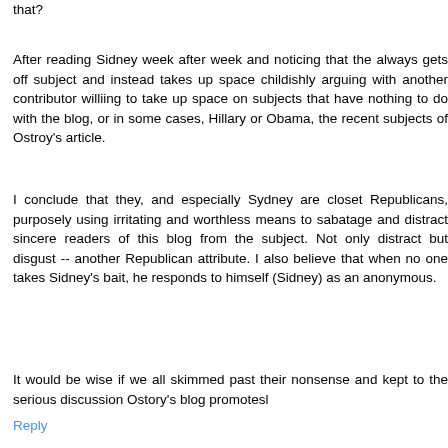that?
After reading Sidney week after week and noticing that the always gets off subject and instead takes up space childishly arguing with another contributor williing to take up space on subjects that have nothing to do with the blog, or in some cases, Hillary or Obama, the recent subjects of Ostroy's article.
I conclude that they, and especially Sydney are closet Republicans, purposely using irritating and worthless means to sabatage and distract sincere readers of this blog from the subject. Not only distract but disgust -- another Republican attribute. I also believe that when no one takes Sidney's bait, he responds to himself (Sidney) as an anonymous.
It would be wise if we all skimmed past their nonsense and kept to the serious discussion Ostory's blog promotesl
Reply